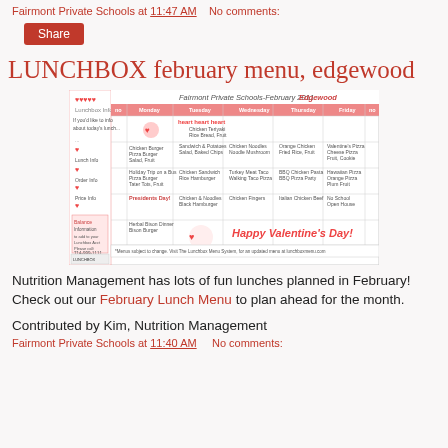Fairmont Private Schools at 11:47 AM   No comments:
Share
LUNCHBOX february menu, edgewood
[Figure (other): February 2011 Fairmont Private Schools Edgewood lunch calendar with Happy Valentine's Day graphic and weekly menu grid]
Nutrition Management has lots of fun lunches planned in February! Check out our February Lunch Menu to plan ahead for the month.
Contributed by Kim, Nutrition Management
Fairmont Private Schools at 11:40 AM   No comments: